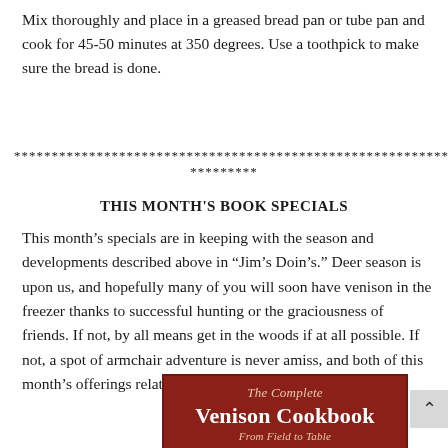Mix thoroughly and place in a greased bread pan or tube pan and cook for 45-50 minutes at 350 degrees. Use a toothpick to make sure the bread is done.
******************************************************************************
*********
THIS MONTH'S BOOK SPECIALS
This month's specials are in keeping with the season and developments described above in “Jim’s Doin’s.” Deer season is upon us, and hopefully many of you will soon have venison in the freezer thanks to successful hunting or the graciousness of friends. If not, by all means get in the woods if at all possible. If not, a spot of armchair adventure is never amiss, and both of this month’s offerings relate to the deer hunting experience.
[Figure (illustration): Book cover for 'The Complete Venison Cookbook' with dark red/brown background, italic subtitle text, bold white title, and italic author text at bottom]